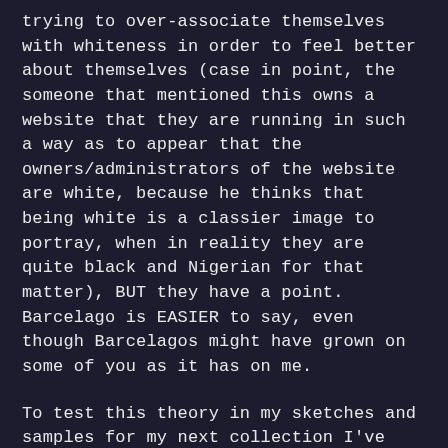trying to over-associate themselves with whiteness in order to feel better about themselves (case in point, the someone that mentioned this owns a website that they are running in such a way as to appear that the owners/administrators of the website are white, because he thinks that being white is a classier image to portray, when in reality they are quite black and Nigerian for that matter), BUT they have a point. Barcelago is EASIER to say, even though Barcelagos might have grown on some of you as it has on me.

To test this theory in my sketches and samples for my next collection I've been
[Figure (other): Bottom navigation bar with three icons: heart (like), speech bubble (comment), and share arrow]